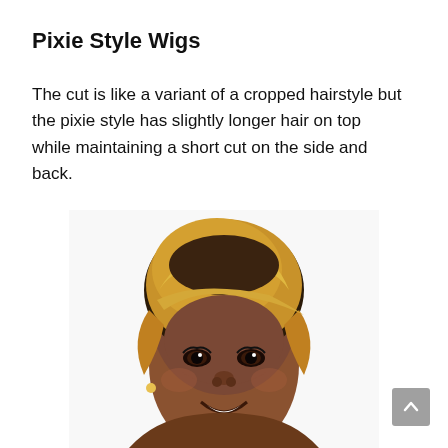Pixie Style Wigs
The cut is like a variant of a cropped hairstyle but the pixie style has slightly longer hair on top while maintaining a short cut on the side and back.
[Figure (photo): A woman wearing a pixie style blonde wig with dark roots, short on sides and back with slightly longer hair on top, smiling.]